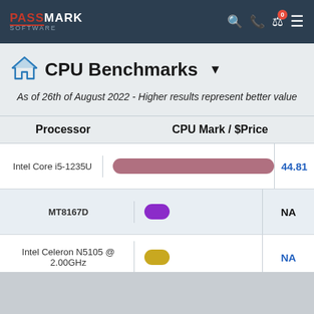PASSMARK SOFTWARE
CPU Benchmarks
As of 26th of August 2022 - Higher results represent better value
| Processor | CPU Mark / $Price |
| --- | --- |
| Intel Core i5-1235U | [bar] | 44.81 |
| MT8167D | [bar] | NA |
| Intel Celeron N5105 @ 2.00GHz | [bar] | NA |